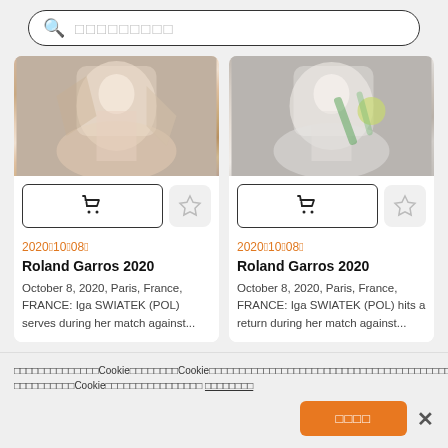[Figure (screenshot): Search bar with magnifying glass icon and placeholder text (Japanese characters)]
[Figure (photo): Tennis player (Iga Swiatek) serving during Roland Garros 2020 match]
[Figure (photo): Tennis player (Iga Swiatek) hitting a return during Roland Garros 2020 match]
2020年10月08日
Roland Garros 2020
October 8, 2020, Paris, France, FRANCE: Iga SWIATEK (POL) serves during her match against...
2020年10月08日
Roland Garros 2020
October 8, 2020, Paris, France, FRANCE: Iga SWIATEK (POL) hits a return during her match against...
当サイトではCookieを使用しています。Cookieの使用に関する詳細は、プライバシーポリシーをご覧ください。当サイトを引き続きご利用の場合、Cookieの使用に同意したものとみなされます。 詳しくはこちら